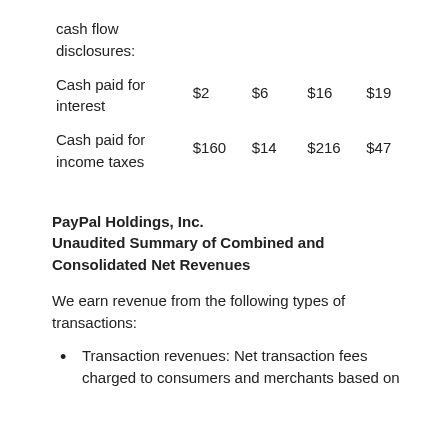| cash flow disclosures: |  |  |  |  |
| Cash paid for interest | $2 | $6 | $16 | $19 |
| Cash paid for income taxes | $160 | $14 | $216 | $47 |
PayPal Holdings, Inc.
Unaudited Summary of Combined and Consolidated Net Revenues
We earn revenue from the following types of transactions:
Transaction revenues: Net transaction fees charged to consumers and merchants based on